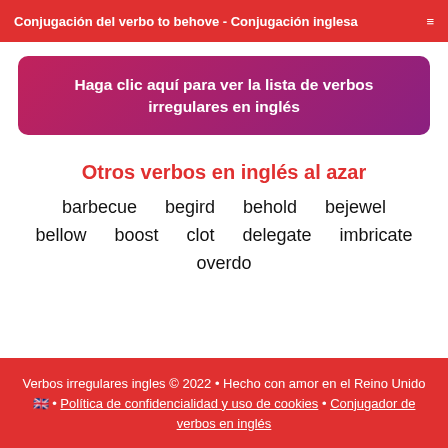Conjugación del verbo to behove - Conjugación inglesa
Haga clic aquí para ver la lista de verbos irregulares en inglés
Otros verbos en inglés al azar
barbecue
begird
behold
bejewel
bellow
boost
clot
delegate
imbricate
overdo
Verbos irregulares ingles © 2022 • Hecho con amor en el Reino Unido 🇬🇧 • Política de confidencialidad y uso de cookies • Conjugador de verbos en inglés